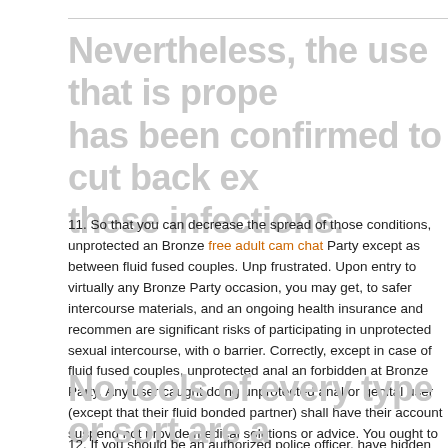Nevertheless, the use that is prope has been confirmed to cut back ex these infections.
11. So that you can decrease the spread of those conditions, unprotected an Bronze free adult cam chat Party except as between fluid fused couples. Unp frustrated. Upon entry to virtually any Bronze Party occasion, you may get, to safer intercourse materials, and an ongoing health insurance and recommen are significant risks of participating in unprotected sexual intercourse, with o barrier. Correctly, except in case of fluid fused couples, unprotected anal an forbidden at Bronze Party. Any user caught doing unprotected anal or genital user (except that their fluid bonded partner) shall have their account suspend not provide medical solutions or advice. You ought to consult your medical p decide to contact the toll-free HIV/AIDS Hotline number (800-342-AIDS), the Community Assessment provider Center Assistance Line (800-564-6600) or 0880). You hereby concur that you may be alert to the potential risks of callin conditions, and expressly as well as in perpetuity consent to assume any an std while attending any Bronze Party occasion. You agree to hereby indemni harmless, in perpetuity, against any and all sorts of such claims asserted no
No tools of every type or sort are a the Club.
12. If you should be an authorized police officer, have hidden carry license, a